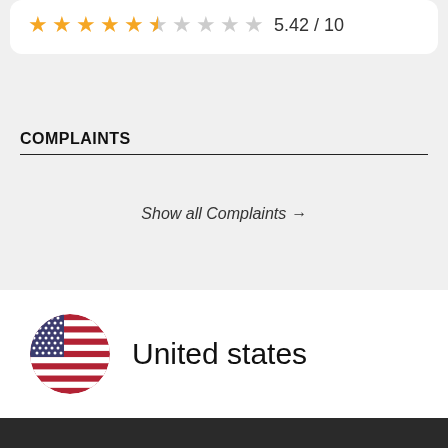[Figure (other): Star rating display showing 5.42/10 with partially filled stars (approximately 5 filled, 0.5 half, 4.5 empty)]
COMPLAINTS
Show all Complaints →
[Figure (other): US flag circle emoji followed by text 'United states']
United states